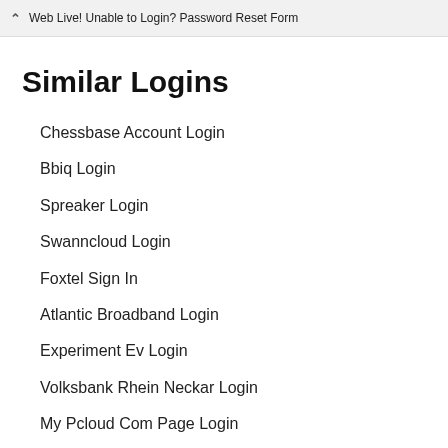Web Live! Unable to Login? Password Reset Form
Similar Logins
Chessbase Account Login
Bbiq Login
Spreaker Login
Swanncloud Login
Foxtel Sign In
Atlantic Broadband Login
Experiment Ev Login
Volksbank Rhein Neckar Login
My Pcloud Com Page Login
Congstar Erster Login